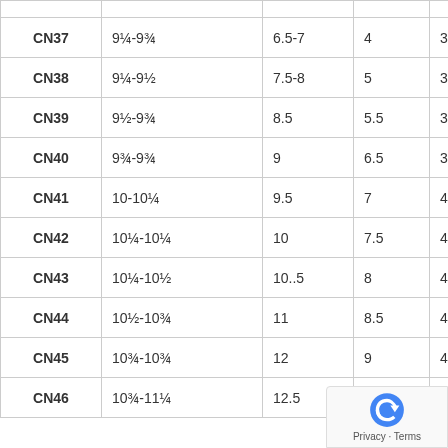|  |  |  |  |  |
| --- | --- | --- | --- | --- |
| CN37 | 9¼-9¾ | 6.5-7 | 4 | 36.5 |
| CN38 | 9¼-9½ | 7.5-8 | 5 | 37.5 |
| CN39 | 9½-9¾ | 8.5 | 5.5 | 38.5 |
| CN40 | 9¾-9¾ | 9 | 6.5 | 39.5 |
| CN41 | 10-10¼ | 9.5 | 7 | 40.5 |
| CN42 | 10¼-10¼ | 10 | 7.5 | 41.5 |
| CN43 | 10¼-10½ | 10..5 | 8 | 42.5 |
| CN44 | 10½-10¾ | 11 | 8.5 | 43.5 |
| CN45 | 10¾-10¾ | 12 | 9 | 44.5 |
| CN46 | 10¾-11¼ | 12.5 | 9.5 | 4… |